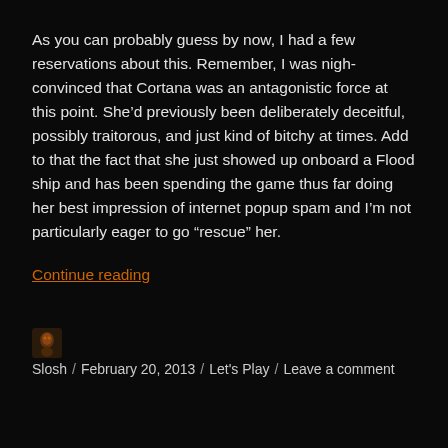As you can probably guess by now, I had a few reservations about this. Remember, I was nigh-convinced that Cortana was an antagonistic force at this point. She'd previously been deliberately deceitful, possibly traitorous, and just kind of bitchy at times. Add to that the fact that she just showed up onboard a Flood ship and has been spending the game thus far doing her best impression of internet popup spam and I'm not particularly eager to go “rescue” her.
Continue reading
Slosh / February 20, 2013 / Let's Play / Leave a comment